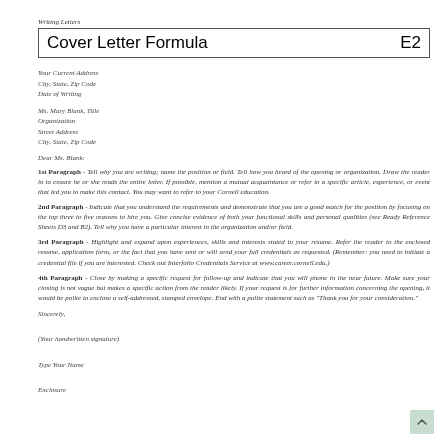Writing Letters
Cover Letter Formula   E2
Your Current Address
City, State, Zip Code
Date of Writing
Ms. Mary Blank, Title
Organization
Street Address
City, State, Zip Code
Dear Ms. Blank:
1st Paragraph - Tell why you are writing; name the position or field. Tell how you heard of the opening or organization. Draw the reader in to ensure he or she reads the entire letter. If possible, mention a mutual acquaintance or refer to a specific article, experience, or event that led you to make this contact. You may want to refer to your Cornell education.
2nd Paragraph - Indicate that you understand the requirements and demonstrate that you are a good match for the position by focusing on the top three to five reasons to hire you. Give concise evidence of both your functional skills and personal qualities (see Ready Reference Sheets D3 and B2). Tell why you have a particular interest in the organization and/or field.
3rd Paragraph - Highlight and expand upon experiences, skills and interests stated in your resume. Refer the reader to the enclosed resume, application form, or the fact that you have sent or will send your full credentials as requested. (Remember: you need to initiate a credential file if you are interested. Check out Interfolio Credentials Service at www.career.cornell.edu.)
4th Paragraph - Close by making a specific request for follow-up and indicate that you will phone in the near future. Make sure your closing is not vague but makes a specific action from the reader likely. If your request is for further information concerning the opening, it would be polite to enclose a self-addressed, stamped envelope. End with a polite statement such as "Thank you for your consideration."
Sincerely,
(Your handwritten signature)
Type Your Name
Enclosure